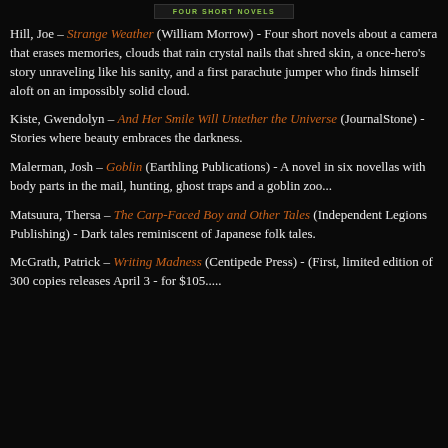FOUR SHORT NOVELS
Hill, Joe – Strange Weather (William Morrow) - Four short novels about a camera that erases memories, clouds that rain crystal nails that shred skin, a once-hero's story unraveling like his sanity, and a first parachute jumper who finds himself aloft on an impossibly solid cloud.
Kiste, Gwendolyn – And Her Smile Will Untether the Universe (JournalStone) - Stories where beauty embraces the darkness.
Malerman, Josh – Goblin (Earthling Publications) - A novel in six novellas with body parts in the mail, hunting, ghost traps and a goblin zoo...
Matsuura, Thersa – The Carp-Faced Boy and Other Tales (Independent Legions Publishing) - Dark tales reminiscent of Japanese folk tales.
McGrath, Patrick – Writing Madness (Centipede Press) - (First, limited edition of 300 copies releases April 3 - for $105.....